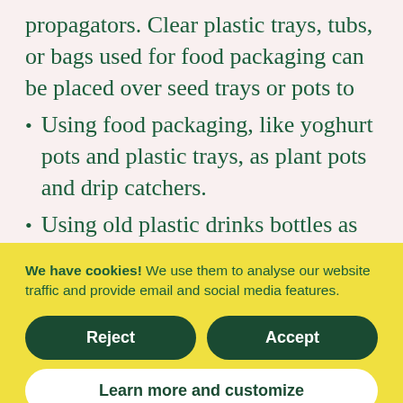propagators. Clear plastic trays, tubs, or bags used for food packaging can be placed over seed trays or pots to give a little extra heat when germinating seeds.
Using food packaging, like yoghurt pots and plastic trays, as plant pots and drip catchers.
Using old plastic drinks bottles as...
We have cookies! We use them to analyse our website traffic and provide email and social media features.
Reject
Accept
Learn more and customize